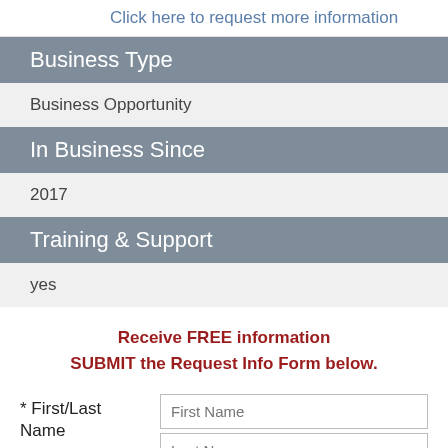Click here to request more information
Business Type
Business Opportunity
In Business Since
2017
Training & Support
yes
Receive FREE information SUBMIT the Request Info Form below.
* First/Last Name
* Email Address